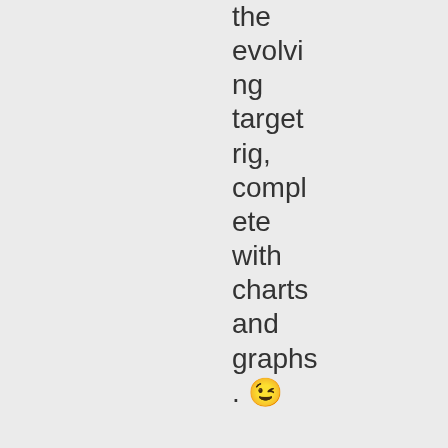the evolving target rig, complete with charts and graphs. 😉 I have yet to even fire up